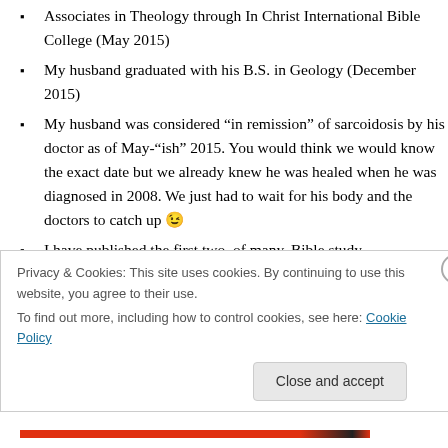Associates in Theology through In Christ International Bible College (May 2015)
My husband graduated with his B.S. in Geology (December 2015)
My husband was considered “in remission” of sarcoidosis by his doctor as of May-“ish” 2015. You would think we would know the exact date but we already knew he was healed when he was diagnosed in 2008. We just had to wait for his body and the doctors to catch up 😉
I have published the first two, of many, Bible study
Privacy & Cookies: This site uses cookies. By continuing to use this website, you agree to their use.
To find out more, including how to control cookies, see here: Cookie Policy